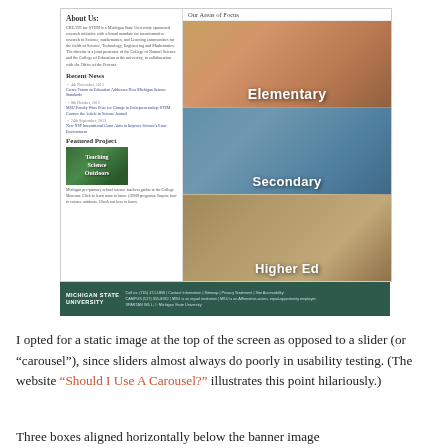[Figure (screenshot): Screenshot of a Michigan State University website page showing 'About Us', 'Recent News', 'Featured Project' sections on the left, and 'Our Areas of Focus' with three photo boxes labeled Elementary, Secondary, and Higher Ed on the right. A dark green MSU footer bar is at the bottom.]
I opted for a static image at the top of the screen as opposed to a slider (or “carousel”), since sliders almost always do poorly in usability testing. (The website “Should I Use A Carousel?” illustrates this point hilariously.)
Three boxes aligned horizontally below the banner image